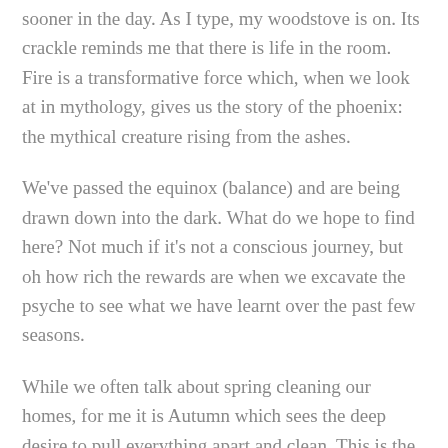sooner in the day. As I type, my woodstove is on. Its crackle reminds me that there is life in the room. Fire is a transformative force which, when we look at in mythology, gives us the story of the phoenix: the mythical creature rising from the ashes.
We've passed the equinox (balance) and are being drawn down into the dark. What do we hope to find here? Not much if it's not a conscious journey, but oh how rich the rewards are when we excavate the psyche to see what we have learnt over the past few seasons.
While we often talk about spring cleaning our homes, for me it is Autumn which sees the deep desire to pull everything apart and clean. This is the perfect season for decluttering, deep cleaning, and shipping off unnecessary things to charity shops for recycling.
As we watch the beautiful aubergine, mustard, claret and golden leaves flutter to the ground, Nature reminds us